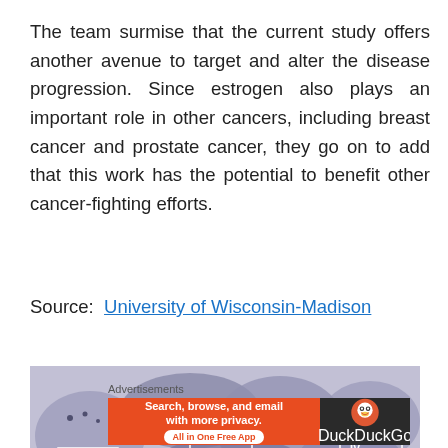The team surmise that the current study offers another avenue to target and alter the disease progression. Since estrogen also plays an important role in other cancers, including breast cancer and prostate cancer, they go on to add that this work has the potential to benefit other cancer-fighting efforts.
Source: University of Wisconsin-Madison
[Figure (photo): Microscope slide image of tissue sample with labeled regions II, III, and IV marked with white rectangles]
Advertisements
[Figure (other): DuckDuckGo advertisement banner: Search, browse, and email with more privacy. All in One Free App]